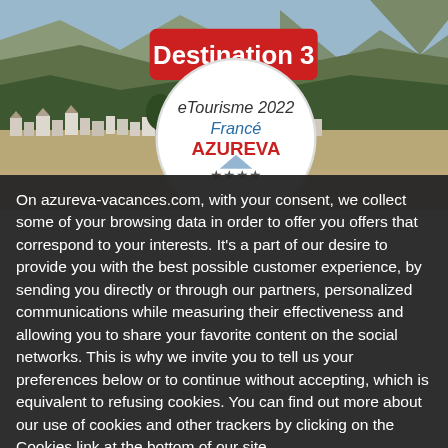[Figure (photo): Aerial/drone photograph of a French village (Azureva destination 3) surrounded by forests, fields and mountains in the background. A circular badge in the top-left reads 'Destination 3' and shows Azureva branding with text 'eTourisme 2022 Francé AZUREVA'.]
On azureva-vacances.com, with your consent, we collect some of your browsing data in order to offer you offers that correspond to your interests. It's a part of our desire to provide you with the best possible customer experience, by sending you directly or through our partners, personalized communications while measuring their effectiveness and allowing you to share your favorite content on the social networks. This is why we invite you to tell us your preferences below or to continue without accepting, which is equivalent to refusing cookies. You can find out more about our use of cookies and other trackers by clicking on the Cookies link at the bottom of our site.
✓ OK, accept all
✗ Deny all cookies
Personalize
Privacy policy